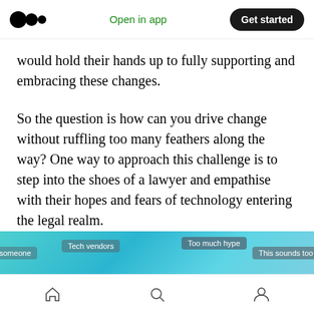Open in app | Get started
would hold their hands up to fully supporting and embracing these changes.
So the question is how can you drive change without ruffling too many feathers along the way? One way to approach this challenge is to step into the shoes of a lawyer and empathise with their hopes and fears of technology entering the legal realm.
Put yourself in their shoes
[Figure (infographic): Teal/cyan banner image with tag pills reading: Too much hype, This sounds too complicated, Tech vendors]
Home | Search | Profile